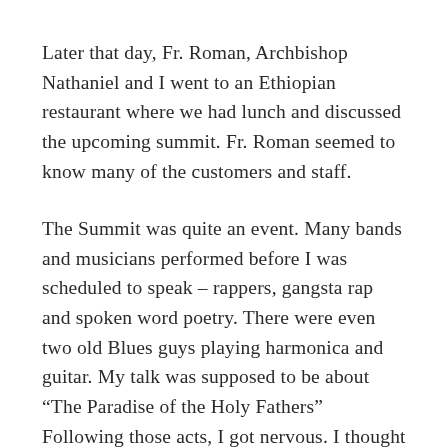Later that day, Fr. Roman, Archbishop Nathaniel and I went to an Ethiopian restaurant where we had lunch and discussed the upcoming summit. Fr. Roman seemed to know many of the customers and staff.
The Summit was quite an event. Many bands and musicians performed before I was scheduled to speak – rappers, gangsta rap and spoken word poetry. There were even two old Blues guys playing harmonica and guitar. My talk was supposed to be about “The Paradise of the Holy Fathers” Following those acts, I got nervous. I thought the crowd might mob the stage. I had visions of the Blues Brothers singing at the country/western bar where the patrons threw bottles at them.